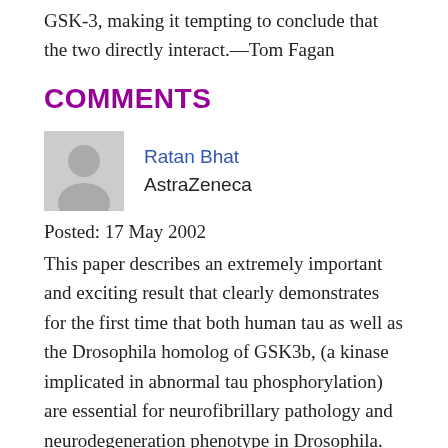GSK-3, making it tempting to conclude that the two directly interact.—Tom Fagan
COMMENTS
Ratan Bhat
AstraZeneca
Posted: 17 May 2002
This paper describes an extremely important and exciting result that clearly demonstrates for the first time that both human tau as well as the Drosophila homolog of GSK3b, (a kinase implicated in abnormal tau phosphorylation) are essential for neurofibrillary pathology and neurodegeneration phenotype in Drosophila.
In the current study, Jackson et al. overexpressed wild-